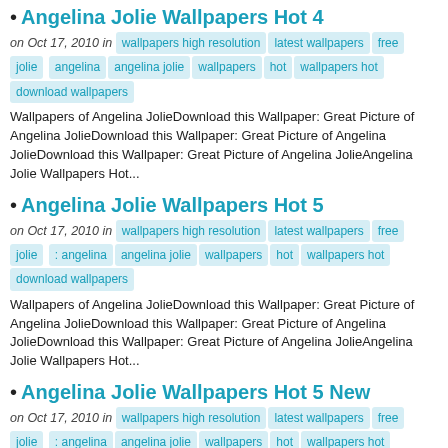Angelina Jolie Wallpapers Hot 4 — on Oct 17, 2010 in wallpapers high resolution latest wallpapers free jolie angelina angelina jolie wallpapers hot wallpapers hot download wallpapers — Wallpapers of Angelina JolieDownload this Wallpaper: Great Picture of Angelina JolieDownload this Wallpaper: Great Picture of Angelina JolieDownload this Wallpaper: Great Picture of Angelina JolieAngelina Jolie Wallpapers Hot...
Angelina Jolie Wallpapers Hot 5 — on Oct 17, 2010 in wallpapers high resolution latest wallpapers free jolie : angelina angelina jolie wallpapers hot wallpapers hot download wallpapers — Wallpapers of Angelina JolieDownload this Wallpaper: Great Picture of Angelina JolieDownload this Wallpaper: Great Picture of Angelina JolieDownload this Wallpaper: Great Picture of Angelina JolieAngelina Jolie Wallpapers Hot...
Angelina Jolie Wallpapers Hot 5 New — on Oct 17, 2010 in wallpapers high resolution latest wallpapers free jolie : angelina angelina jolie wallpapers hot wallpapers hot download wallpapers — Wallpapers of Angelina JolieDownload this Wallpaper: Great Picture of Angelina JolieDownload this Wallpaper: Great Picture of Angelina JolieDownload this Wallpaper: Great Picture of Angelina JolieAngelina Jolie Wallpapers Hot...
Angelina Jolie Wallpapers Hot 1 — on Jul 7, 2010 in download latest wallpapers free jolie angelina angelina jolie wallpapers hot wallpapers hot